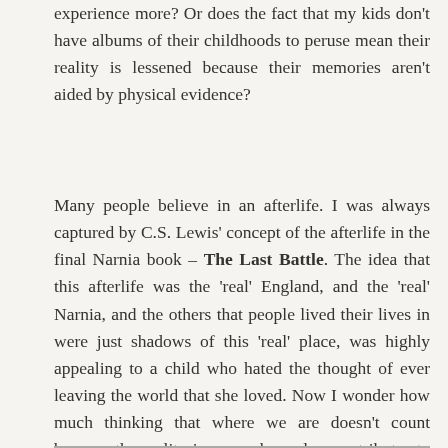experience more? Or does the fact that my kids don't have albums of their childhoods to peruse mean their reality is lessened because their memories aren't aided by physical evidence?
Many people believe in an afterlife. I was always captured by C.S. Lewis' concept of the afterlife in the final Narnia book – The Last Battle. The idea that this afterlife was the 'real' England, and the 'real' Narnia, and the others that people lived their lives in were just shadows of this 'real' place, was highly appealing to a child who hated the thought of ever leaving the world that she loved. Now I wonder how much thinking that where we are doesn't count because the reality is somewhere else, contributes to a sense of purposelessness.